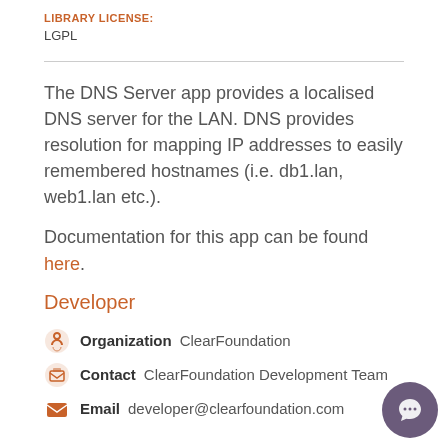LIBRARY LICENSE:
LGPL
The DNS Server app provides a localised DNS server for the LAN. DNS provides resolution for mapping IP addresses to easily remembered hostnames (i.e. db1.lan, web1.lan etc.).
Documentation for this app can be found here.
Developer
Organization  ClearFoundation
Contact  ClearFoundation Development Team
Email  developer@clearfoundation.com